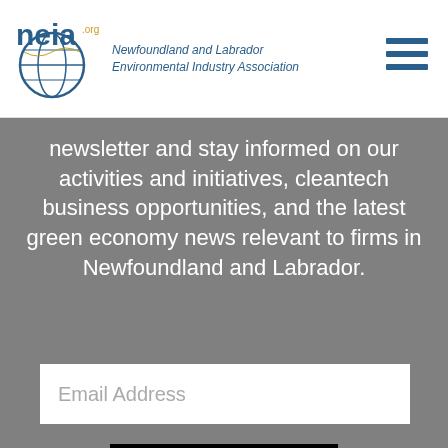[Figure (logo): NEIA logo with globe icon and text 'Newfoundland and Labrador Environmental Industry Association']
newsletter and stay informed on our activities and initiatives, cleantech business opportunities, and the latest green economy news relevant to firms in Newfoundland and Labrador.
Email Address
SIGN UP!